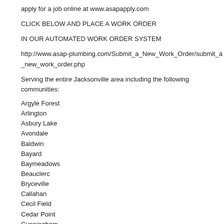apply for a job online at www.asapapply.com
CLICK BELOW AND PLACE A WORK ORDER
IN OUR AUTOMATED WORK ORDER SYSTEM
http://www.asap-plumbing.com/Submit_a_New_Work_Order/submit_a_new_work_order.php
Serving the entire Jacksonville area including the following communities:
Argyle Forest
Arlington
Asbury Lake
Avondale
Baldwin
Bayard
Baymeadows
Beauclerc
Bryceville
Callahan
Cecil Field
Cedar Point
Cunningham
Dinsmore
Durkeeville
Five Points
Fruit Cove